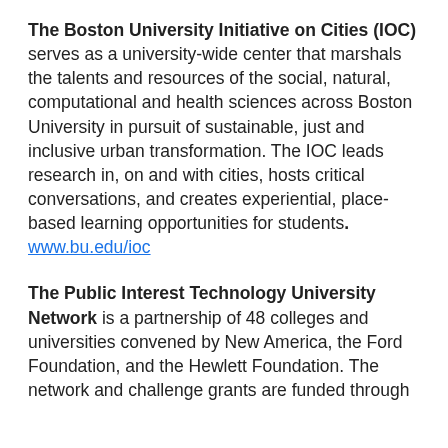The Boston University Initiative on Cities (IOC) serves as a university-wide center that marshals the talents and resources of the social, natural, computational and health sciences across Boston University in pursuit of sustainable, just and inclusive urban transformation. The IOC leads research in, on and with cities, hosts critical conversations, and creates experiential, place-based learning opportunities for students. www.bu.edu/ioc
The Public Interest Technology University Network is a partnership of 48 colleges and universities convened by New America, the Ford Foundation, and the Hewlett Foundation. The network and challenge grants are funded through